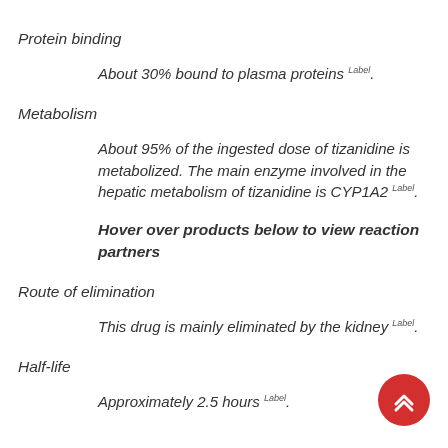Protein binding
About 30% bound to plasma proteins Label .
Metabolism
About 95% of the ingested dose of tizanidine is metabolized. The main enzyme involved in the hepatic metabolism of tizanidine is CYP1A2 Label .
Hover over products below to view reaction partners
Route of elimination
This drug is mainly eliminated by the kidney Label .
Half-life
Approximately 2.5 hours Label .